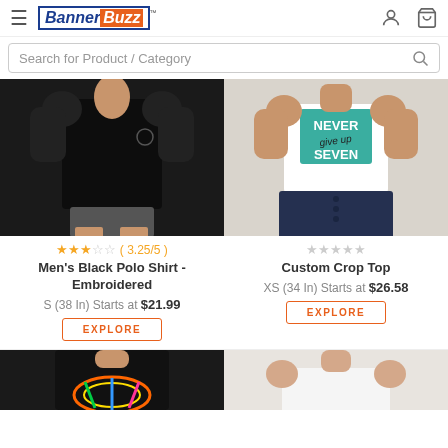BannerBuzz - Menu, User, Cart icons, Search for Product / Category
[Figure (photo): Men's black polo shirt with small logo on chest, model wearing gray shorts]
[Figure (photo): Custom crop top white shirt with teal Never Give Up box print, model wearing dark jeans]
★★★☆☆ ( 3.25/5 )
★★★★★ (no rating shown, all empty stars)
Men's Black Polo Shirt - Embroidered
Custom Crop Top
S (38 In) Starts at $21.99
XS (34 In) Starts at $26.58
EXPLORE
EXPLORE
[Figure (photo): Black t-shirt with colorful design, partially visible at bottom]
[Figure (photo): White t-shirt, partially visible at bottom]